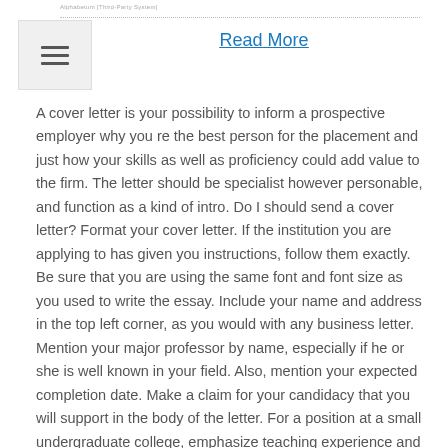Alphabetum [Third-Party System]
Read More
A cover letter is your possibility to inform a prospective employer why you re the best person for the placement and just how your skills as well as proficiency could add value to the firm. The letter should be specialist however personable, and function as a kind of intro. Do I should send a cover letter? Format your cover letter. If the institution you are applying to has given you instructions, follow them exactly. Be sure that you are using the same font and font size as you used to write the essay. Include your name and address in the top left corner, as you would with any business letter. Mention your major professor by name, especially if he or she is well known in your field. Also, mention your expected completion date. Make a claim for your candidacy that you will support in the body of the letter. For a position at a small undergraduate college, emphasize teaching experience and philosophy early in the letter.